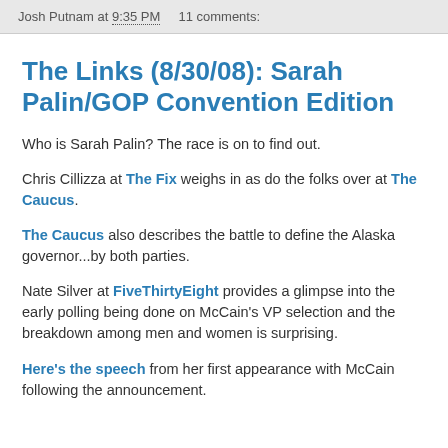Josh Putnam at 9:35 PM   11 comments:
The Links (8/30/08): Sarah Palin/GOP Convention Edition
Who is Sarah Palin? The race is on to find out.
Chris Cillizza at The Fix weighs in as do the folks over at The Caucus.
The Caucus also describes the battle to define the Alaska governor...by both parties.
Nate Silver at FiveThirtyEight provides a glimpse into the early polling being done on McCain's VP selection and the breakdown among men and women is surprising.
Here's the speech from her first appearance with McCain following the announcement.